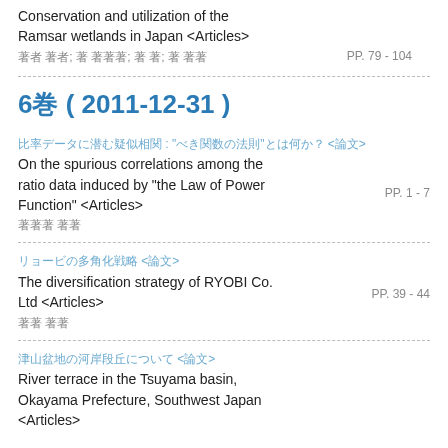Conservation and utilization of the Ramsar wetlands in Japan <Articles>
著者 著者; 著 著著著; 著 著; 著 著著
PP. 79 - 104
6巻 ( 2011-12-31 )
比率データに潜む疑似相関 : "べき関数の法則"とは何か？ <論文>
On the spurious correlations among the ratio data induced by "the Law of Power Function" <Articles>
著著著 著著
PP. 1 - 7
リョービの多角化戦略 <論文>
The diversification strategy of RYOBI Co. Ltd <Articles>
著著 著著
PP. 39 - 44
津山盆地の河岸段丘について <論文>
River terrace in the Tsuyama basin, Okayama Prefecture, Southwest Japan <Articles>